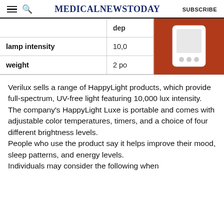MedicalNewsToday  SUBSCRIBE
|  | dep |
| --- | --- |
| lamp intensity | 10,0 |
| weight | 2 po |
[Figure (photo): White HappyLight device on a red/orange decorative background]
Verilux sells a range of HappyLight products, which provide full-spectrum, UV-free light featuring 10,000 lux intensity.
The company’s HappyLight Luxe is portable and comes with adjustable color temperatures, timers, and a choice of four different brightness levels.
People who use the product say it helps improve their mood, sleep patterns, and energy levels.
Individuals may consider the following when...